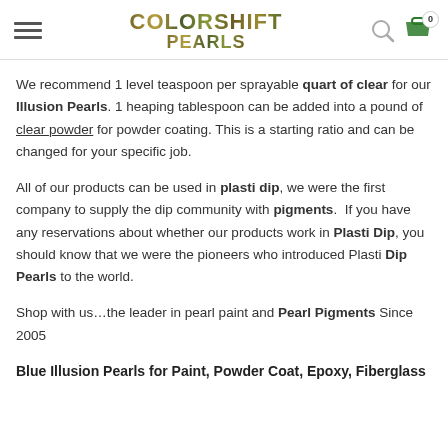ColorShift Pearls
We recommend 1 level teaspoon per sprayable quart of clear for our Illusion Pearls. 1 heaping tablespoon can be added into a pound of clear powder for powder coating. This is a starting ratio and can be changed for your specific job.
All of our products can be used in plasti dip, we were the first company to supply the dip community with pigments. If you have any reservations about whether our products work in Plasti Dip, you should know that we were the pioneers who introduced Plasti Dip Pearls to the world.
Shop with us…the leader in pearl paint and Pearl Pigments Since 2005
Blue Illusion Pearls for Paint, Powder Coat, Epoxy, Fiberglass